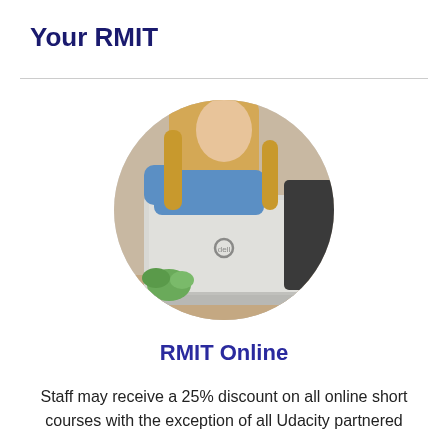Your RMIT
[Figure (photo): A woman with long blonde hair sitting behind a Dell laptop, viewed from behind. A small succulent plant is visible in the foreground. Photo is cropped in a circle.]
RMIT Online
Staff may receive a 25% discount on all online short courses with the exception of all Udacity partnered